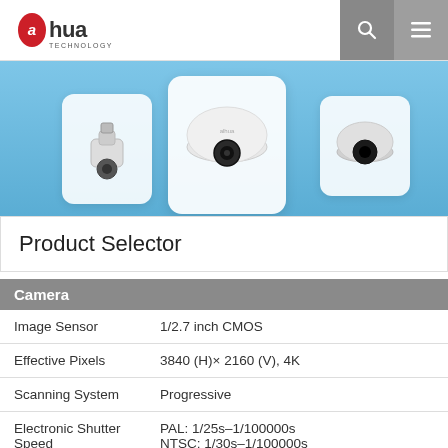Dahua Technology
[Figure (photo): Three security cameras (PTZ, dome, mini-dome) displayed on a light blue background with white rounded card panels]
Product Selector
| Camera |  |
| --- | --- |
| Image Sensor | 1/2.7 inch CMOS |
| Effective Pixels | 3840 (H)× 2160 (V), 4K |
| Scanning System | Progressive |
| Electronic Shutter Speed | PAL: 1/25s–1/100000s
NTSC: 1/30s–1/100000s |
| S/N Ratio | >65dB |
| Minimum Illumination | 0.03Lux/F2.0, 30IRE, 0Lux IR on |
| Fill Light Working |  |